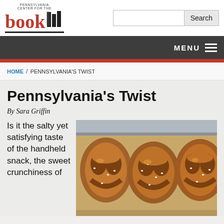[Figure (logo): Pennsylvania Center for the Book logo with stylized 'book' text and book icon]
[Figure (screenshot): Search input box and Search button]
MENU
HOME / PENNSYLVANIA'S TWIST
Pennsylvania's Twist
By Sara Griffin
Is it the salty yet satisfying taste of the handheld snack, the sweet crunchiness of
[Figure (photo): Close-up photo of multiple soft pretzels arranged on a tray, showing their golden-brown twisted shape with salt on top]